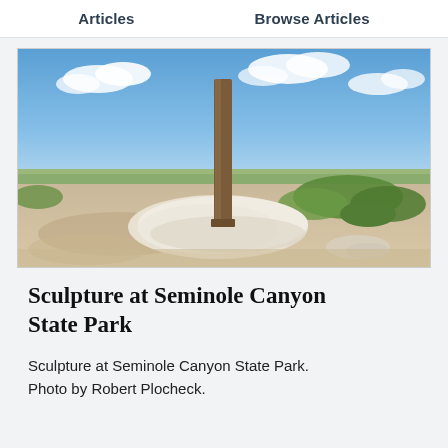Articles    Browse Articles
[Figure (photo): Outdoor photo of Seminole Canyon State Park showing a large white rock, gravel ground, green shrubs, a wooden post/sculpture in the center, flat plains in the background, and a partly cloudy blue sky.]
Sculpture at Seminole Canyon State Park
Sculpture at Seminole Canyon State Park. Photo by Robert Plocheck.